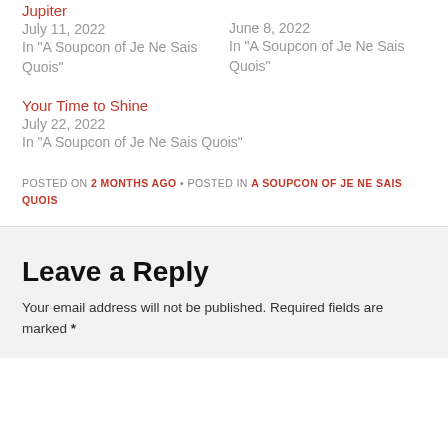Jupiter
July 11, 2022
In "A Soupcon of Je Ne Sais Quois"
June 8, 2022
In "A Soupcon of Je Ne Sais Quois"
Your Time to Shine
July 22, 2022
In "A Soupcon of Je Ne Sais Quois"
POSTED ON 2 MONTHS AGO • POSTED IN A SOUPCON OF JE NE SAIS QUOIS
Leave a Reply
Your email address will not be published. Required fields are marked *